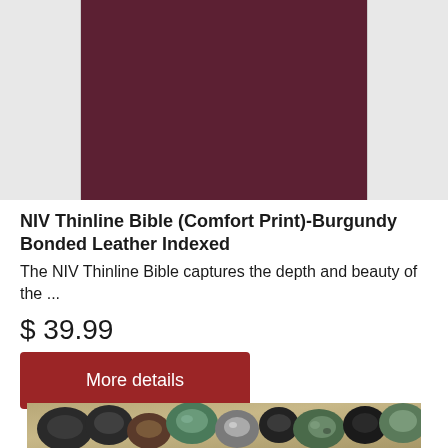[Figure (photo): Product image showing a burgundy/dark maroon bonded leather Bible cover on a light grey background with side panels]
NIV Thinline Bible (Comfort Print)-Burgundy Bonded Leather Indexed
The NIV Thinline Bible captures the depth and beauty of the ...
$ 39.99
More details
[Figure (photo): Partial view of decorative beads and stones including green, black, and silver colored beads on a natural cork or wood surface]